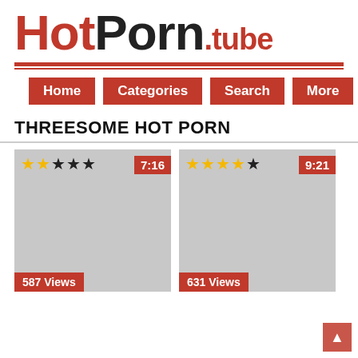HotPorn.tube
Home | Categories | Search | More
THREESOME HOT PORN
[Figure (screenshot): Video thumbnail 1 with 2-star rating, duration 7:16, 587 Views]
[Figure (screenshot): Video thumbnail 2 with 3.5-star rating, duration 9:21, 631 Views]